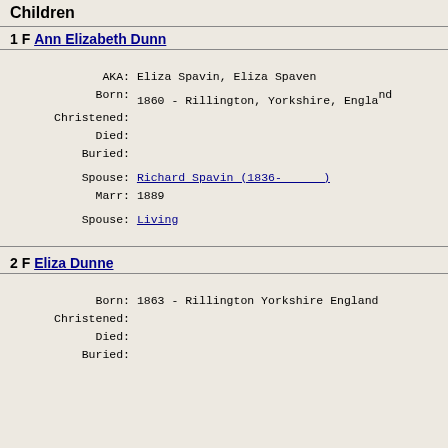Children
1 F Ann Elizabeth Dunn
AKA: Eliza Spavin, Eliza Spaven
Born: 1860 - Rillington, Yorkshire, England
Christened:
Died:
Buried:
Spouse: Richard Spavin (1836-      )
Marr: 1889
Spouse: Living
2 F Eliza Dunne
Born: 1863 - Rillington Yorkshire England
Christened:
Died:
Buried: